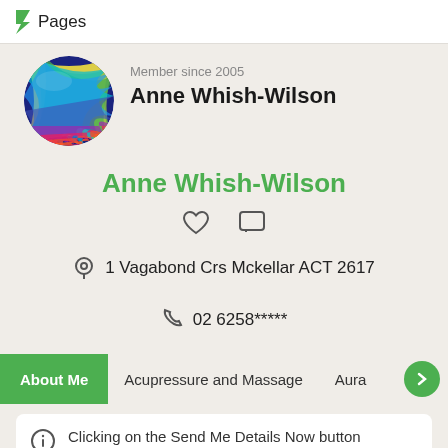Pages
[Figure (illustration): Colorful swirling rainbow circular avatar image for Anne Whish-Wilson]
Member since 2005
Anne Whish-Wilson
Anne Whish-Wilson
1 Vagabond Crs Mckellar ACT 2617
02 6258*****
About Me
Acupressure and Massage
Aura
Clicking on the Send Me Details Now button opens an enquiry form where you can